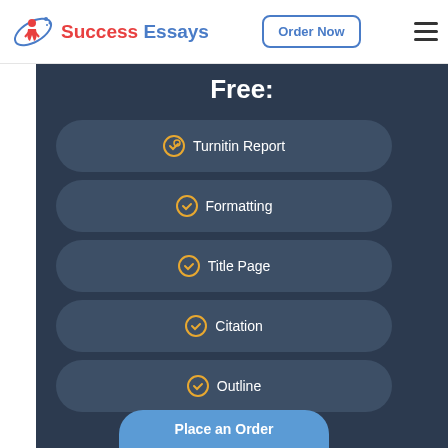[Figure (logo): Success Essays logo with icon and text]
Order Now
Free:
Turnitin Report
Formatting
Title Page
Citation
Outline
Place an Order